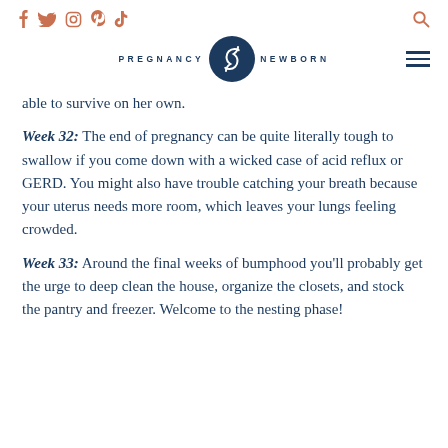Social icons: f, twitter, instagram, pinterest, tiktok | PREGNANCY & NEWBORN logo | search icon | hamburger menu
able to survive on her own.
Week 32: The end of pregnancy can be quite literally tough to swallow if you come down with a wicked case of acid reflux or GERD. You might also have trouble catching your breath because your uterus needs more room, which leaves your lungs feeling crowded.
Week 33: Around the final weeks of bumphood you'll probably get the urge to deep clean the house, organize the closets, and stock the pantry and freezer. Welcome to the nesting phase!